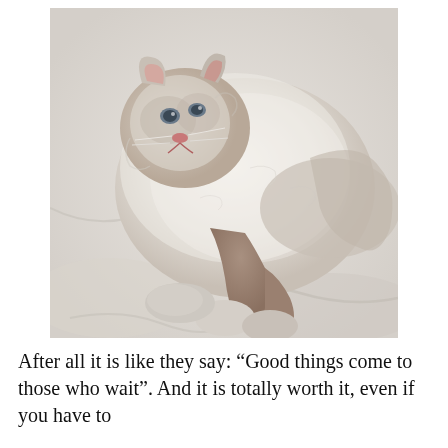[Figure (photo): A fluffy white and taupe/brown cat lying on white fabric/bedding, looking toward the camera with a relaxed pose. The cat has pointed ears with pink inner coloring, blue-gray eyes, and darker coloring on its face, legs, and tail.]
After all it is like they say: “Good things come to those who wait”. And it is totally worth it, even if you have to wait for a beautiful kitty for a moment.